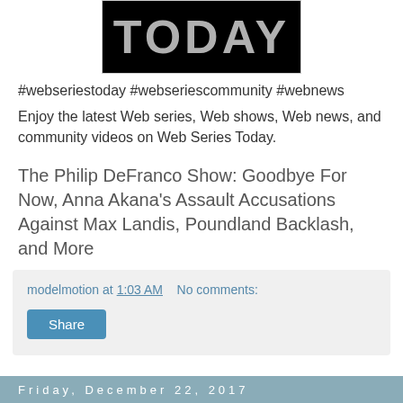[Figure (logo): Black rectangle with large gray text 'TODAY' — Web Series Today logo]
#webseriestoday #webseriescommunity #webnews
Enjoy the latest Web series, Web shows, Web news, and community videos on Web Series Today.
The Philip DeFranco Show: Goodbye For Now, Anna Akana's Assault Accusations Against Max Landis, Poundland Backlash, and More
modelmotion at 1:03 AM   No comments:
Share
Friday, December 22, 2017